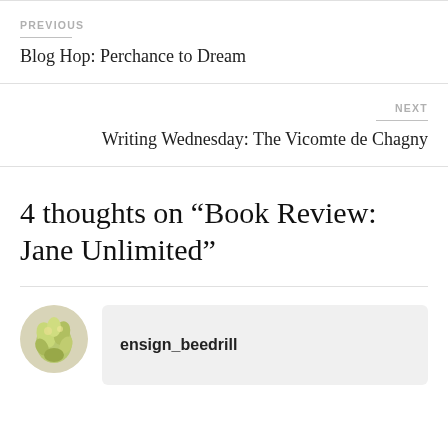PREVIOUS
Blog Hop: Perchance to Dream
NEXT
Writing Wednesday: The Vicomte de Chagny
4 thoughts on “Book Review: Jane Unlimited”
ensign_beedrill